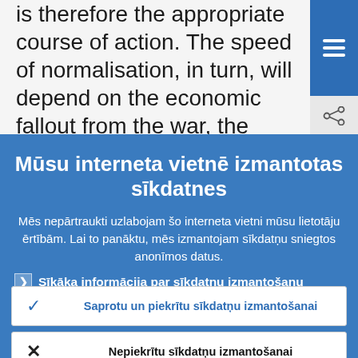is therefore the appropriate course of action. The speed of normalisation, in turn, will depend on the economic fallout from the war, the severity of the inflation shock
Mūsu interneta vietnē izmantotas sīkdatnes
Mēs nepārtraukti uzlabojam šo interneta vietni mūsu lietotāju ērtībām. Lai to panāktu, mēs izmantojam sīkdatņu sniegtos anonīmos datus.
Sīkāka informācija par sīkdatņu izmantošanu
Saprotu un piekrītu sīkdatņu izmantošanai
Nepiekrītu sīkdatņu izmantošanai